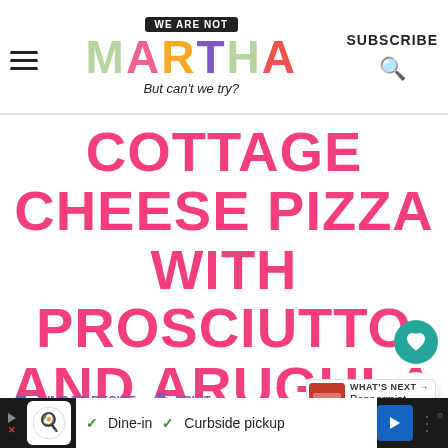WE ARE NOT MARTHA — But can't we try? | SUBSCRIBE
COTTAGE CHEESE PIZZA WITH PROSCIUTTO AND ARUGULA
JUMP TO RECIPE   PRINT   WHAT'S NEXT → Peppermint Cheesecake...
Cottage cheese and pizza are a match
Dine-in   Curbside pickup